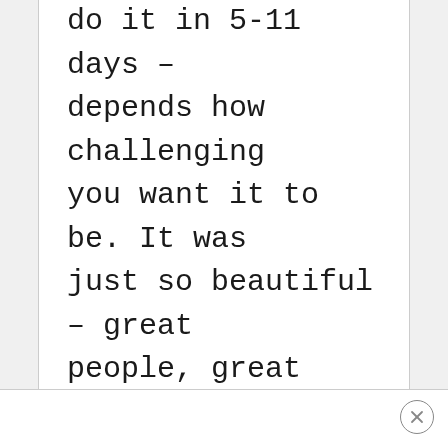do it in 5-11 days – depends how challenging you want it to be. It was just so beautiful – great people, great food, amazing scenary. Although I think my week in London afterwards undid all my fitness!